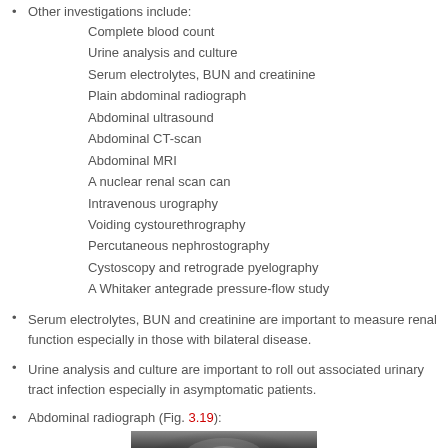Other investigations include: Complete blood count; Urine analysis and culture; Serum electrolytes, BUN and creatinine; Plain abdominal radiograph; Abdominal ultrasound; Abdominal CT-scan; Abdominal MRI; A nuclear renal scan can; Intravenous urography; Voiding cystourethrography; Percutaneous nephrostography; Cystoscopy and retrograde pyelography; A Whitaker antegrade pressure-flow study
Serum electrolytes, BUN and creatinine are important to measure renal function especially in those with bilateral disease.
Urine analysis and culture are important to roll out associated urinary tract infection especially in asymptomatic patients.
Abdominal radiograph (Fig. 3.19):
[Figure (photo): Grayscale abdominal radiograph image, partial view showing a darkened X-ray scan]